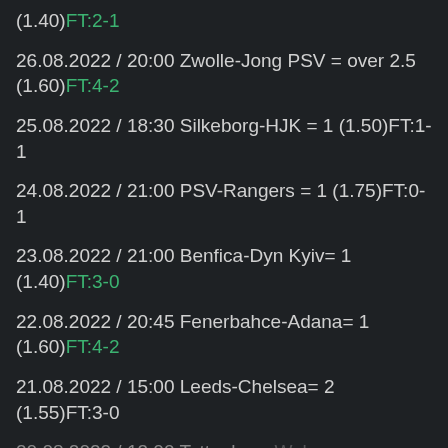(1.40)FT:2-1
26.08.2022 / 20:00 Zwolle-Jong PSV = over 2.5 (1.60)FT:4-2
25.08.2022 / 18:30 Silkeborg-HJK = 1 (1.50)FT:1-1
24.08.2022 / 21:00 PSV-Rangers = 1 (1.75)FT:0-1
23.08.2022 / 21:00 Benfica-Dyn Kyiv= 1 (1.40)FT:3-0
22.08.2022 / 20:45 Fenerbahce-Adana= 1 (1.60)FT:4-2
21.08.2022 / 15:00 Leeds-Chelsea= 2 (1.55)FT:3-0
20.08.2022 / 13:00 Tottenham-Wolves = 1